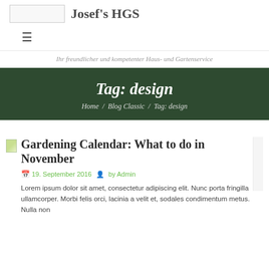Josef's HGS
Ihr freundlicher und kompetenter Haus- und Gartenservice
Tag: design
Home / Blog Classic / Tag: design
Gardening Calendar: What to do in November
19. September 2016  by Admin
Lorem ipsum dolor sit amet, consectetur adipiscing elit. Nunc porta fringilla ullamcorper. Morbi felis orci, lacinia a velit et, sodales condimentum metus. Nulla non